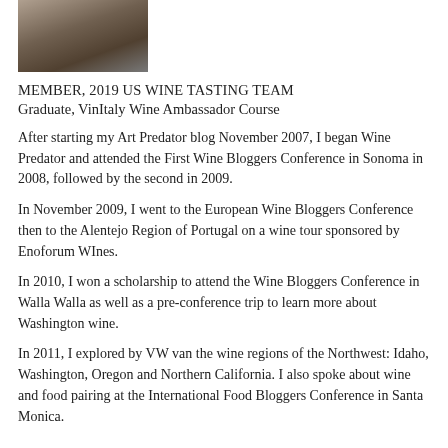[Figure (photo): Partial photo of a person using a laptop, cropped at top of page]
MEMBER, 2019 US WINE TASTING TEAM
Graduate, VinItaly Wine Ambassador Course
After starting my Art Predator blog November 2007, I began Wine Predator and attended the First Wine Bloggers Conference in Sonoma in 2008, followed by the second in 2009.
In November 2009, I went to the European Wine Bloggers Conference then to the Alentejo Region of Portugal on a wine tour sponsored by Enoforum WInes.
In 2010, I won a scholarship to attend the Wine Bloggers Conference in Walla Walla as well as a pre-conference trip to learn more about Washington wine.
In 2011, I explored by VW van the wine regions of the Northwest: Idaho, Washington, Oregon and Northern California. I also spoke about wine and food pairing at the International Food Bloggers Conference in Santa Monica.